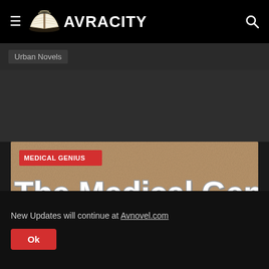≡ AVRACITY 🔍
Urban Novels
[Figure (screenshot): Featured book cover for 'The Medical Genius' with a kraft/tan textured background, large white outlined text reading 'The Medical Genius', a red badge reading 'MEDICAL GENIUS', and a bold white subtitle 'Medical Genius's Unspeakable Marriage Read Novel Free Online']
New Updates will continue at Avnovel.com
Ok